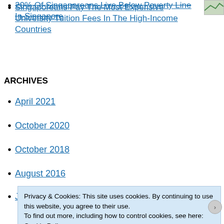20% Of Singaporeans Live Below Poverty Line In Singapore
Singaporeans Pay The Most Expensive University Tuition Fees In The High-Income Countries
ARCHIVES
April 2021
October 2020
October 2018
August 2016
July 2016
May 2016
April 2016
Privacy & Cookies: This site uses cookies. By continuing to use this website, you agree to their use. To find out more, including how to control cookies, see here: Cookie Policy